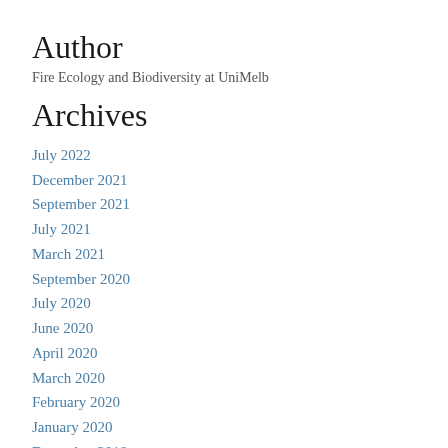Author
Fire Ecology and Biodiversity at UniMelb
Archives
July 2022
December 2021
September 2021
July 2021
March 2021
September 2020
July 2020
June 2020
April 2020
March 2020
February 2020
January 2020
December 2019
November 2019
October 2019
July 2019